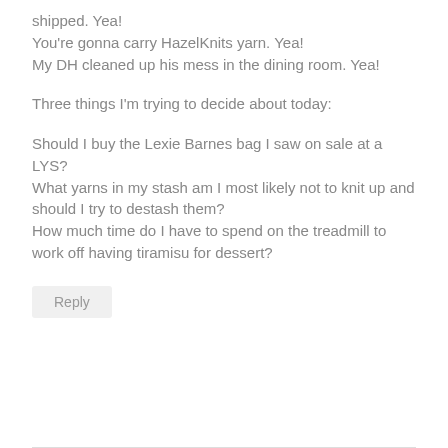shipped. Yea!
You're gonna carry HazelKnits yarn. Yea!
My DH cleaned up his mess in the dining room. Yea!
Three things I'm trying to decide about today:
Should I buy the Lexie Barnes bag I saw on sale at a LYS?
What yarns in my stash am I most likely not to knit up and should I try to destash them?
How much time do I have to spend on the treadmill to work off having tiramisu for dessert?
Reply